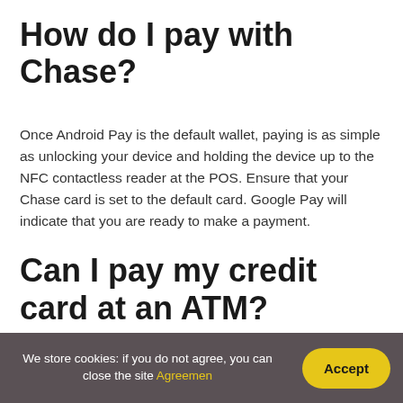How do I pay with Chase?
Once Android Pay is the default wallet, paying is as simple as unlocking your device and holding the device up to the NFC contactless reader at the POS. Ensure that your Chase card is set to the default card. Google Pay will indicate that you are ready to make a payment.
Can I pay my credit card at an ATM?
We store cookies: if you do not agree, you can close the site Agreemen   Accept